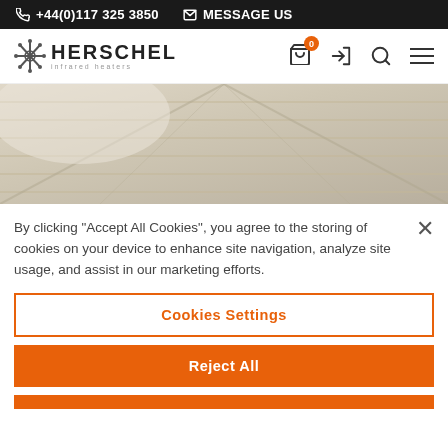+44(0)117 325 3850  MESSAGE US
[Figure (logo): Herschel infrared heaters logo with decorative snowflake/asterisk symbol]
[Figure (photo): Close-up photo of wooden sauna ceiling planks in beige/cream tones viewed from below at an angle]
By clicking "Accept All Cookies", you agree to the storing of cookies on your device to enhance site navigation, analyze site usage, and assist in our marketing efforts.
Cookies Settings
Reject All